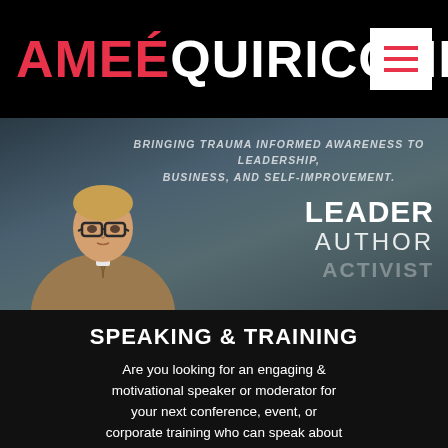AMEÉ QUIRICONI
[Figure (photo): Woman with short blonde hair and glasses wearing a brown jacket, seated against a dark background. Overlay text reads: BRINGING TRAUMA INFORMED AWARENESS TO LEADERSHIP, BUSINESS, AND SELF-IMPROVEMENT. LEADER AUTHOR ACTIVIST]
SPEAKING & TRAINING
Are you looking for an engaging & motivational speaker or moderator for your next conference, event, or corporate training who can speak about